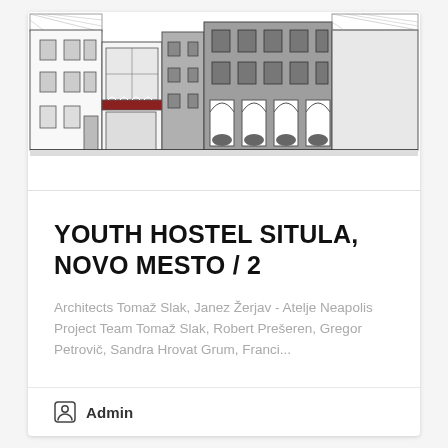[Figure (engineering-diagram): Architectural elevation drawing of a row of historic buildings including a white multi-storey building on the left, a central section with arched arcade and dark red balcony detail, and a grey rendered building on the right with large arched windows at ground level. Line drawing style with some grey fill on the rightmost structure.]
YOUTH HOSTEL SITULA, NOVO MESTO / 2
Architects Tomaž Slak, Janez Žerjav - Atelje Neapolis Project Team Tomaž Slak, Robert Prešeren, Gregor Petrovič, Sandra Hrovat Grum, Franci...
Admin